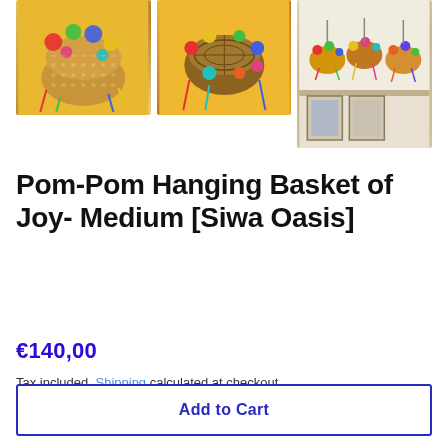[Figure (photo): Three product photos of a colorful Pom-Pom Hanging Basket displayed on a yellow background. Left: front view of decorated basket. Center: side/top view. Right: multiple baskets hanging on shelf with framed pictures.]
Pom-Pom Hanging Basket of Joy- Medium [Siwa Oasis]
€140,00
Tax included. Shipping calculated at checkout.
Add to Cart